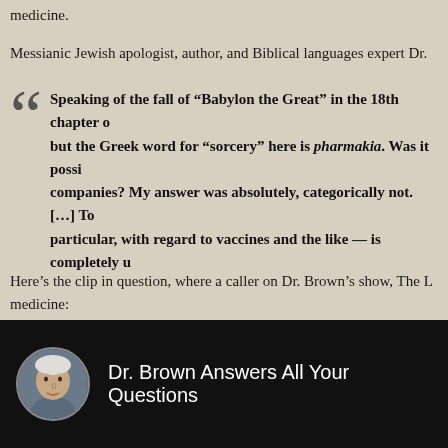medicine.
Messianic Jewish apologist, author, and Biblical languages expert Dr.
Speaking of the fall of “Babylon the Great” in the 18th chapter of but the Greek word for “sorcery” here is pharmakia. Was it possi companies? My answer was absolutely, categorically not. […] To particular, with regard to vaccines and the like — is completely u
Here’s the clip in question, where a caller on Dr. Brown’s show, The L medicine:
[Figure (screenshot): Video thumbnail showing Dr. Brown Answers All Your Questions with a circular avatar photo of an older man and white text on black background]